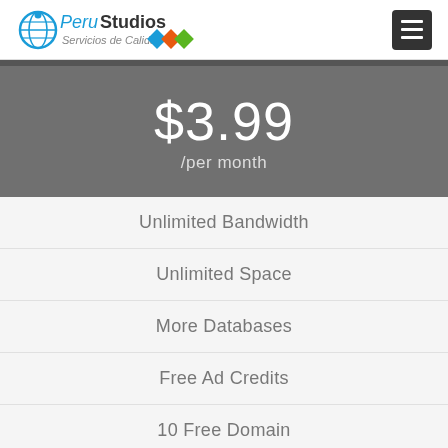PeruStudios Servicios de Calidad
$3.99 /per month
Unlimited Bandwidth
Unlimited Space
More Databases
Free Ad Credits
10 Free Domain
24/7 Unlimited Support
Unlimited Emails